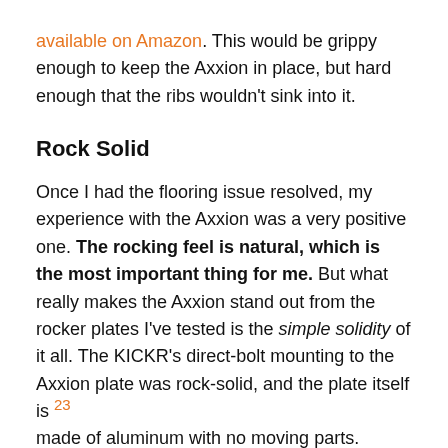available on Amazon. This would be grippy enough to keep the Axxion in place, but hard enough that the ribs wouldn't sink into it.
Rock Solid
Once I had the flooring issue resolved, my experience with the Axxion was a very positive one. The rocking feel is natural, which is the most important thing for me. But what really makes the Axxion stand out from the rocker plates I've tested is the simple solidity of it all. The KICKR's direct-bolt mounting to the Axxion plate was rock-solid, and the plate itself is 23 made of aluminum with no moving parts. Simply bulletproof design, obviously developed by a dude who is very experience in both indoor training and aluminum parts CNC machining!